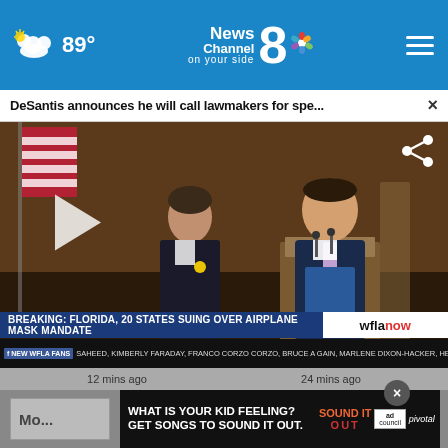89° News Channel 8 on your side
DeSantis announces he will call lawmakers for spe...  ×
[Figure (screenshot): Video still of a press conference showing a man in a blue suit speaking at a podium with an American flag in the background and a woman in a dark jacket standing behind him. Lower third reads: BREAKING: FLORIDA, 20 STATES SUING OVER AIRPLANE MASK MANDATE. wflanow logo shown. Social ticker strip with: NEW WFLA FANS, SAHEED, KIMBERLY FARADAY, FRANCO CORZO CORZO, BRUCE A GAIN, MARLENE DIXON-HACKER, HENRY. Play button visible. Share icon visible.]
12 mins ago
24 mins ago
[Figure (infographic): Advertisement banner: WHAT IS YOUR KID FEELING? GET SONGS TO SOUND IT OUT. Sound It Out logo, Ad Council logo, Pivotal branding.]
Mo...